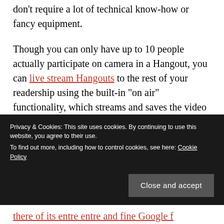don't require a lot of technical know-how or fancy equipment.
Though you can only have up to 10 people actually participate on camera in a Hangout, you can live stream Hangouts to the rest of your readership using the built-in “on air” functionality, which streams and saves the video to your brand’s YouTube page.
The New York Times, which was rated in January as the news brand with the most engagement on G+, doesn’t
Privacy & Cookies: This site uses cookies. By continuing to use this website, you agree to their use. To find out more, including how to control cookies, see here: Cookie Policy
Close and accept
there of its entre entre and fine Google f